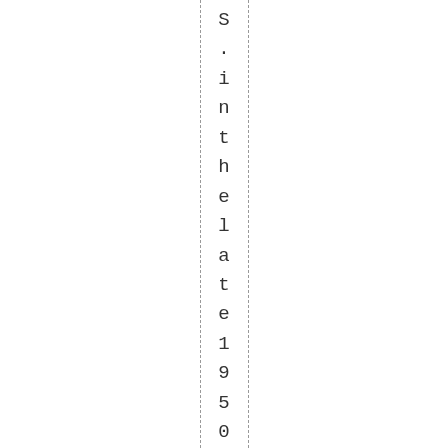S . i n t h e l a t e 1 9 5 0 \ ' s . i n f a c t t h e v e